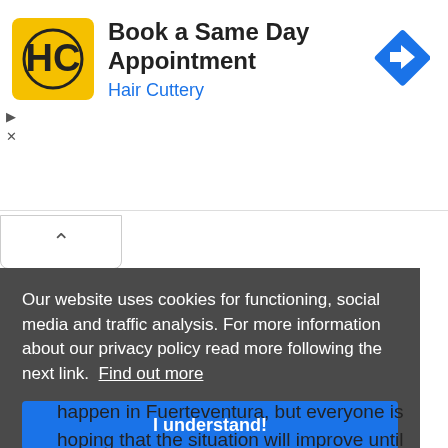[Figure (screenshot): Advertisement banner for Hair Cuttery: 'Book a Same Day Appointment' with Hair Cuttery logo (HC in yellow square) and blue navigation arrow icon]
Our website uses cookies for functioning, social media and traffic analysis. For more information about our privacy policy read more following the next link.  Find out more
I understand!
Due to the ongoing Coronavirus pandemic, there [are many events that were supposed to] happen in Fuerteventura, but everyone is hoping that the situation will improve until